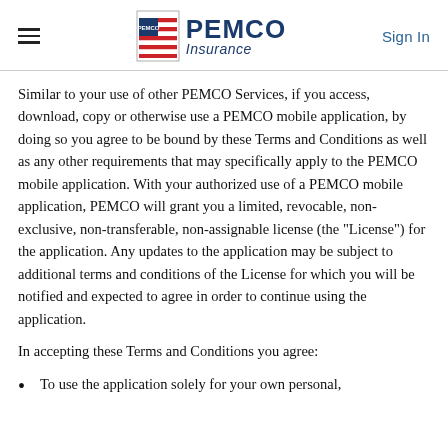PEMCO Insurance — Sign In
Similar to your use of other PEMCO Services, if you access, download, copy or otherwise use a PEMCO mobile application, by doing so you agree to be bound by these Terms and Conditions as well as any other requirements that may specifically apply to the PEMCO mobile application. With your authorized use of a PEMCO mobile application, PEMCO will grant you a limited, revocable, non-exclusive, non-transferable, non-assignable license (the "License") for the application. Any updates to the application may be subject to additional terms and conditions of the License for which you will be notified and expected to agree in order to continue using the application.
In accepting these Terms and Conditions you agree:
To use the application solely for your own personal,